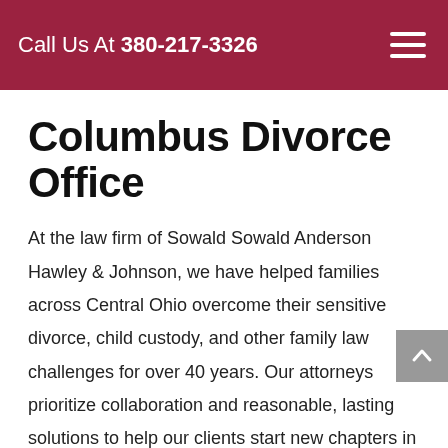Call Us At 380-217-3326
Columbus Divorce Office
At the law firm of Sowald Sowald Anderson Hawley & Johnson, we have helped families across Central Ohio overcome their sensitive divorce, child custody, and other family law challenges for over 40 years. Our attorneys prioritize collaboration and reasonable, lasting solutions to help our clients start new chapters in their lives.
Learn more about how our experience can benefit you and see why we are highly recommended by our clients. Call 614-464-1877 or reach out online to schedule an initial